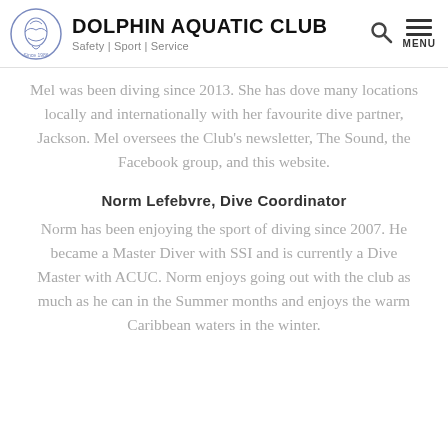DOLPHIN AQUATIC CLUB — Safety | Sport | Service
Mel was been diving since 2013. She has dove many locations locally and internationally with her favourite dive partner, Jackson. Mel oversees the Club's newsletter, The Sound, the Facebook group, and this website.
Norm Lefebvre, Dive Coordinator
Norm has been enjoying the sport of diving since 2007. He became a Master Diver with SSI and is currently a Dive Master with ACUC. Norm enjoys going out with the club as much as he can in the Summer months and enjoys the warm Caribbean waters in the winter.